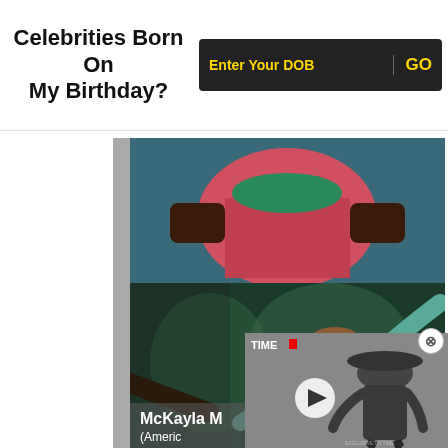Celebrities Born On My Birthday?
[Figure (photo): Input bar with 'Enter Your DOB' placeholder and GO button on dark background]
[Figure (photo): Photo of Simone Biles (American gymnast) in pink and green leotard with medals]
[Figure (photo): Photo of McKayla M (American gymnast) in teal leotard with arm raised]
[Figure (photo): Video overlay panel with TIME logo, play button, and figure in black hat]